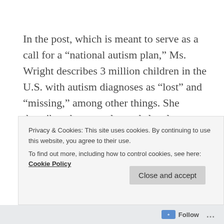In the post, which is meant to serve as a call for a “national autism plan,” Ms. Wright describes 3 million children in the U.S. with autism diagnoses as “lost” and “missing,” among other things. She describes the struggles and sleeplessness of their parents and says:
These families are not living.
They are existing. Breathing – yes. Eating – yes.
Privacy & Cookies: This site uses cookies. By continuing to use this website, you agree to their use.
To find out more, including how to control cookies, see here: Cookie Policy
Close and accept
Follow